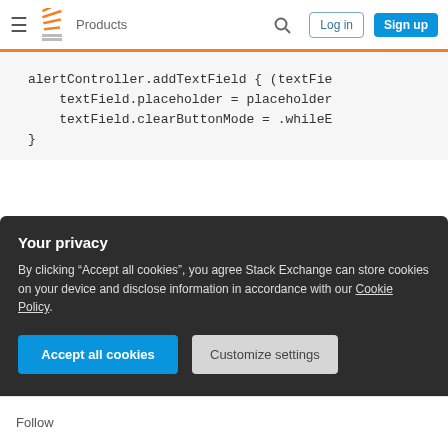≡  [Stack Overflow logo]  Products  🔍  Log in  Sign up
[Figure (screenshot): Code snippet in Swift showing alertController.addTextField block with textField.placeholder and textField.clearButtonMode settings, followed by let submitAction = UIAlertAction(title:, let userInput = alertController.tex, completion(userInput), }, let cancelAction = UIAlertAction(title:, completion(nil)]
Your privacy
By clicking "Accept all cookies", you agree Stack Exchange can store cookies on your device and disclose information in accordance with our Cookie Policy.
Accept all cookies  Customize settings